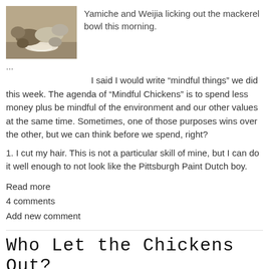[Figure (photo): Two cats licking a bowl together on a surface]
Yamiche and Weijia licking out the mackerel bowl this morning.
...
I said I would write “mindful things” we did this week. The agenda of “Mindful Chickens” is to spend less money plus be mindful of the environment and our other values at the same time. Sometimes, one of those purposes wins over the other, but we can think before we spend, right?
1. I cut my hair. This is not a particular skill of mine, but I can do it well enough to not look like the Pittsburgh Paint Dutch boy.
Read more
4 comments
Add new comment
Who Let the Chickens Out?
[Figure (photo): Several chickens viewed from behind in a grassy area]
Mindful Chickens i.e., being frugal and living by our values instead of by blithering consumerism is how this blog started. Yet I